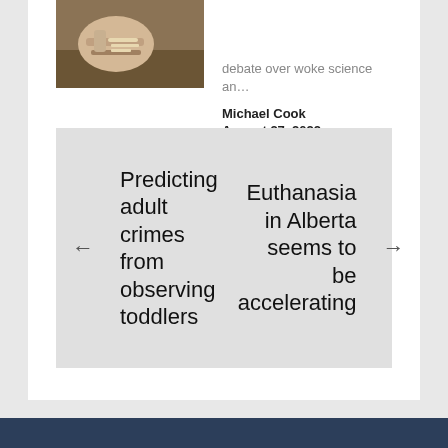[Figure (photo): A person's hands writing in a notebook on a wooden surface]
debate over woke science an…
Michael Cook
August 27, 2022
Predicting adult crimes from observing toddlers
Euthanasia in Alberta seems to be accelerating